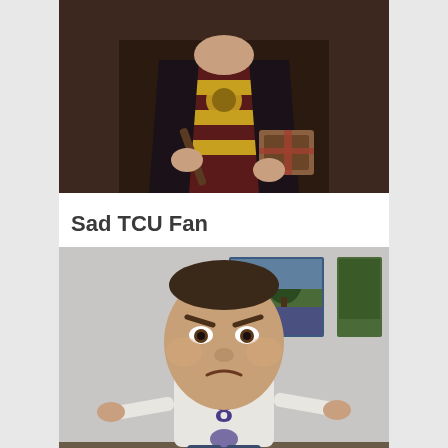[Figure (photo): Person in Harry Potter costume wearing dark robes with gold and maroon Gryffindor scarf, holding a wand in one hand and a wrapped gift in the other, with a gold time-turner necklace visible.]
Sad TCU Fan
[Figure (photo): A child wearing a TCU (Texas Christian University) jersey with number 8 and a large oversized angry baby face cutout head. The child is standing with hands outstretched and appears to be in a room with bluebonnet landscape photos on the wall.]